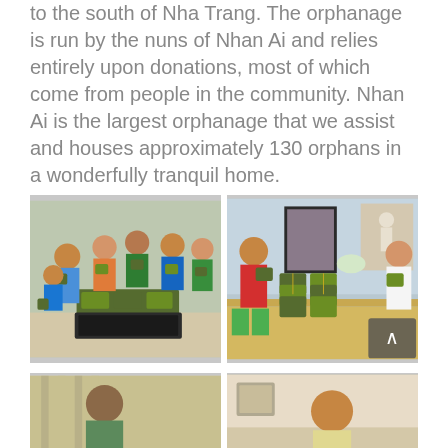to the south of Nha Trang. The orphanage is run by the nuns of Nhan Ai and relies entirely upon donations, most of which come from people in the community. Nhan Ai is the largest orphanage that we assist and houses approximately 130 orphans in a wonderfully tranquil home.
[Figure (photo): Group of children holding green-wrapped food packages (banh chung/sticky rice cakes) standing in a room with more packages in a crate on the floor]
[Figure (photo): Two girls holding green-wrapped sticky rice cakes in a room with a religious statue and framed pictures on the wall, packages stacked on a table]
[Figure (photo): Partial view of children at bottom of page, left side]
[Figure (photo): Partial view of a child at bottom of page, right side, with room interior visible]